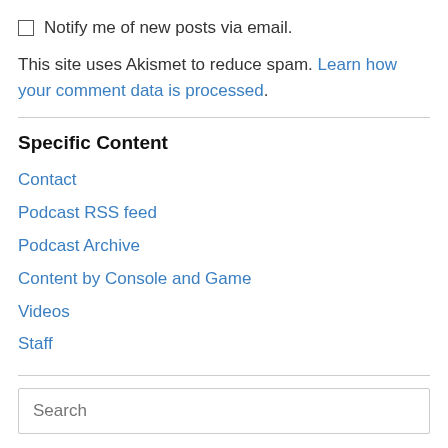Notify me of new posts via email.
This site uses Akismet to reduce spam. Learn how your comment data is processed.
Specific Content
Contact
Podcast RSS feed
Podcast Archive
Content by Console and Game
Videos
Staff
Search